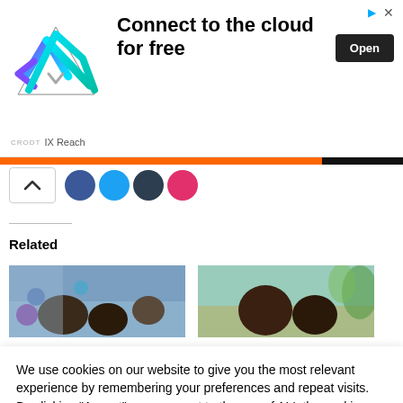[Figure (screenshot): Advertisement banner for IX Reach cloud service with logo, text 'Connect to the cloud for free', and Open button]
[Figure (screenshot): Social sharing bar with chevron up button and colored social media circle icons]
[Figure (photo): Related article thumbnail showing crowd of people at an event]
[Figure (photo): Related article thumbnail showing two people outdoors]
We use cookies on our website to give you the most relevant experience by remembering your preferences and repeat visits. By clicking “Accept”, you consent to the use of ALL the cookies.
Do not sell my personal information.
Cookie settings
ACCEPT